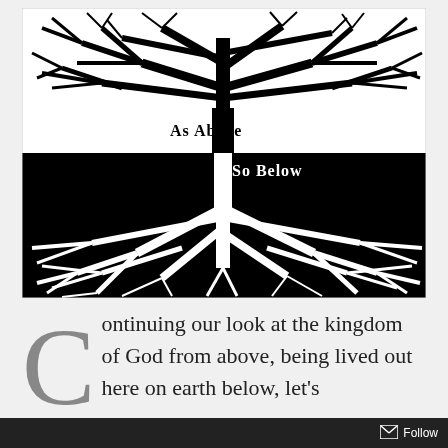[Figure (illustration): Black and white illustration of a tree with branches spreading upward on a white background (upper half labeled 'As Above') and roots spreading downward on a black background (lower half labeled 'So Below'), creating a mirror image effect.]
Continuing our look at the kingdom of God from above, being lived out here on earth below, let's
Follow